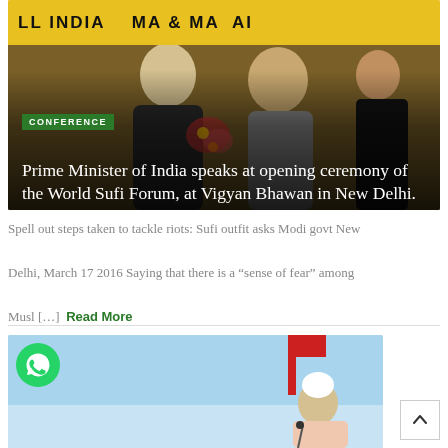[Figure (photo): Photo of Prime Minister of India at World Sufi Forum opening ceremony, with yellow banner at top reading 'ALL INDIA ULEMA & MASHAIKH'. Conference badge label in green, white text title overlay at bottom.]
Prime Minister of India speaks at opening ceremony of the World Sufi Forum, at Vigyan Bhawan in New Delhi.
Spell out steps taken to tackle riots: Sufi outfit asks Modi govt New Delhi, March 17 2016 Saying that there is a “sense of fear” among Musl [...] Read More
[Figure (photo): Photo of a man in white at an outdoor event, with a WhatsApp icon overlay in the top-left corner. Blue sky background.]